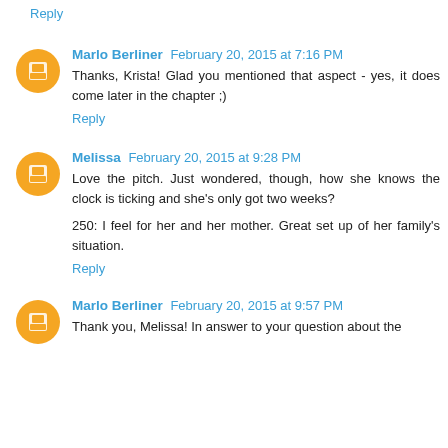Reply
Marlo Berliner February 20, 2015 at 7:16 PM
Thanks, Krista! Glad you mentioned that aspect - yes, it does come later in the chapter ;)
Reply
Melissa February 20, 2015 at 9:28 PM
Love the pitch. Just wondered, though, how she knows the clock is ticking and she's only got two weeks?
250: I feel for her and her mother. Great set up of her family's situation.
Reply
Marlo Berliner February 20, 2015 at 9:57 PM
Thank you, Melissa! In answer to your question about the